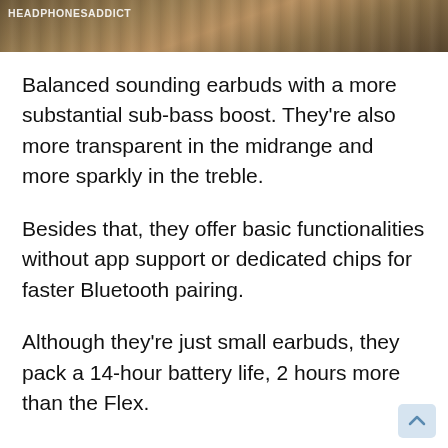[Figure (photo): Photo strip at top of page showing rocky/wooden surface with watermark text 'HEADPHONESADDICT']
Balanced sounding earbuds with a more substantial sub-bass boost. They're also more transparent in the midrange and more sparkly in the treble.
Besides that, they offer basic functionalities without app support or dedicated chips for faster Bluetooth pairing.
Although they're just small earbuds, they pack a 14-hour battery life, 2 hours more than the Flex.